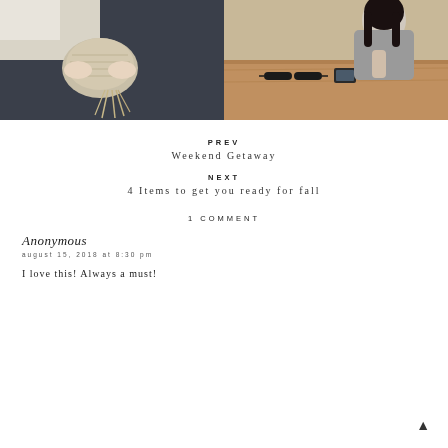[Figure (photo): Two fashion/lifestyle photos side by side: left shows a person holding a round beige clutch bag with tassels wearing dark jeans; right shows a woman sitting at a wooden table in a cafe holding an iced coffee drink with sunglasses and a phone on the table.]
PREV
Weekend Getaway
NEXT
4 Items to get you ready for fall
1 COMMENT
Anonymous
august 15, 2018 at 8:30 pm
I love this! Always a must!